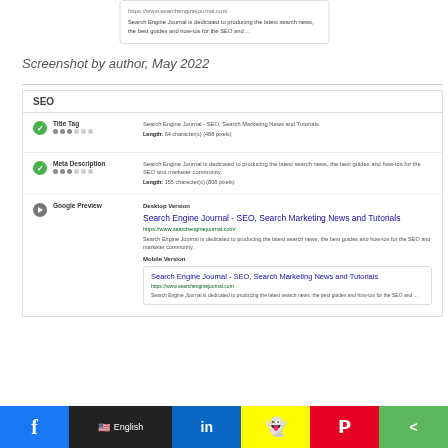[Figure (screenshot): Partial view of a mobile Google preview card showing Search Engine Journal snippet with description text]
Screenshot by author, May 2022
[Figure (screenshot): SEO panel showing Title Tag, Meta Description, and Google Preview (Desktop and Mobile versions) for searchenginejournal.com]
Social sharing bar with Facebook, English language selector, LinkedIn, Snapchat, Pinterest, and Share buttons